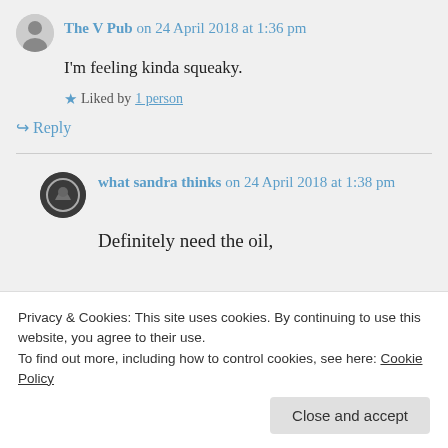The V Pub on 24 April 2018 at 1:36 pm
I'm feeling kinda squeaky.
Liked by 1 person
Reply
what sandra thinks on 24 April 2018 at 1:38 pm
Definitely need the oil,
Privacy & Cookies: This site uses cookies. By continuing to use this website, you agree to their use.
To find out more, including how to control cookies, see here: Cookie Policy
Close and accept